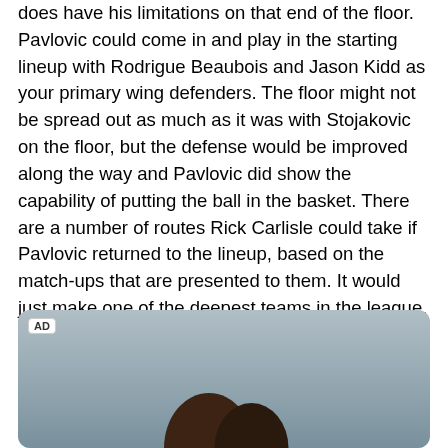does have his limitations on that end of the floor. Pavlovic could come in and play in the starting lineup with Rodrigue Beaubois and Jason Kidd as your primary wing defenders. The floor might not be spread out as much as it was with Stojakovic on the floor, but the defense would be improved along the way and Pavlovic did show the capability of putting the ball in the basket. There are a number of routes Rick Carlisle could take if Pavlovic returned to the lineup, based on the match-ups that are presented to them. It would just make one of the deepest teams in the league, if not the deepest, that much stronger.
[Figure (photo): Advertisement image showing two women, partially visible, against a light blue-gray background. An 'AD' label appears in the top-left corner of the ad unit.]